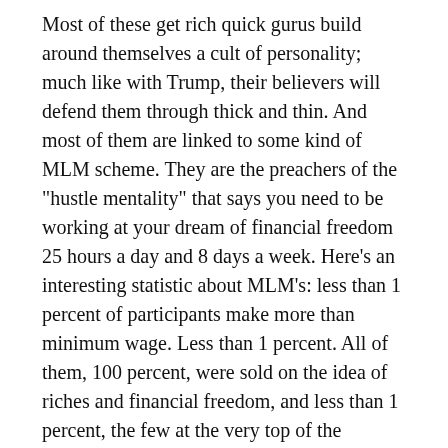Most of these get rich quick gurus build around themselves a cult of personality; much like with Trump, their believers will defend them through thick and thin. And most of them are linked to some kind of MLM scheme. They are the preachers of the "hustle mentality" that says you need to be working at your dream of financial freedom 25 hours a day and 8 days a week. Here's an interesting statistic about MLM's: less than 1 percent of participants make more than minimum wage. Less than 1 percent. All of them, 100 percent, were sold on the idea of riches and financial freedom, and less than 1 percent, the few at the very top of the pyramid scheme, actually get there. And these get rich quick gurus know it.
They're all scammers, but one of the worst among them is Gary Vee, or Gary Vaynerchuk. The below linked video sums up something and shows a good